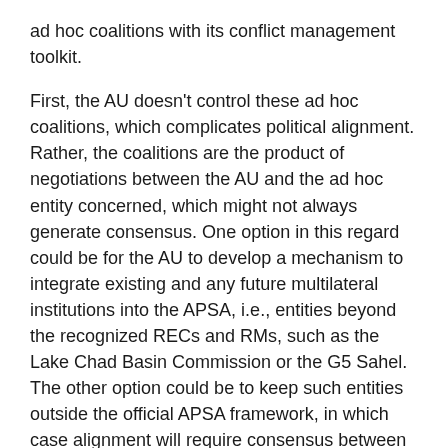ad hoc coalitions with its conflict management toolkit.
First, the AU doesn't control these ad hoc coalitions, which complicates political alignment. Rather, the coalitions are the product of negotiations between the AU and the ad hoc entity concerned, which might not always generate consensus. One option in this regard could be for the AU to develop a mechanism to integrate existing and any future multilateral institutions into the APSA, i.e., entities beyond the recognized RECs and RMs, such as the Lake Chad Basin Commission or the G5 Sahel. The other option could be to keep such entities outside the official APSA framework, in which case alignment will require consensus between the AU PSC and the ad hoc entity in question concerning the mandate, modalities, and financing of the mission. Whatever the relationship, it is in the AU's interests to ensure that these ad hoc coalitions work to strengthen the APSA, not undermine it.